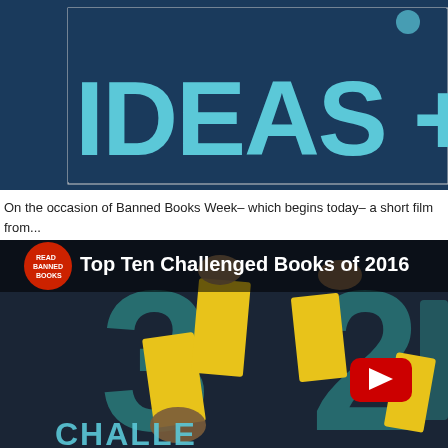[Figure (screenshot): Partial banner image with dark navy background showing large cyan/light-blue bold text reading 'IDEAS + WO' (cut off at right edge)]
On the occasion of Banned Books Week– which begins today– a short film fro... Top Ten Challenged Books of 2016:
[Figure (screenshot): YouTube video thumbnail for 'Top Ten Challenged Books of 2016' by Read Banned Books channel. Dark navy background with large teal numbers '3', '2' visible, yellow book-shaped cutouts held by hands, YouTube play button in center-right area, text 'CHALLE...' at bottom. Red circular channel logo with 'READ BANNED BOOKS' text at top left.]